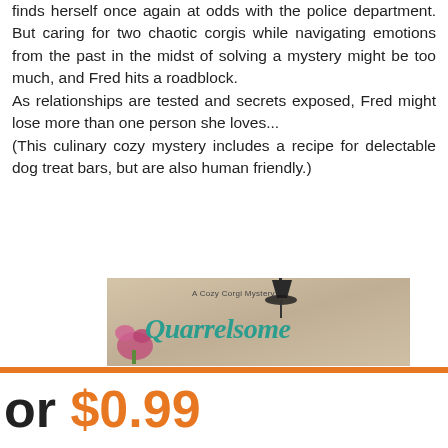finds herself once again at odds with the police department. But caring for two chaotic corgis while navigating emotions from the past in the midst of solving a mystery might be too much, and Fred hits a roadblock.
As relationships are tested and secrets exposed, Fred might lose more than one person she loves...
(This culinary cozy mystery includes a recipe for delectable dog treat bars, but are also human friendly.)
[Figure (illustration): Book cover image showing a cozy corgi mystery novel titled 'Quarrelsome' (A Cozy Corgi Mystery), with a decorative background, a lamp silhouette at top, and floral elements on the left side.]
or $0.99